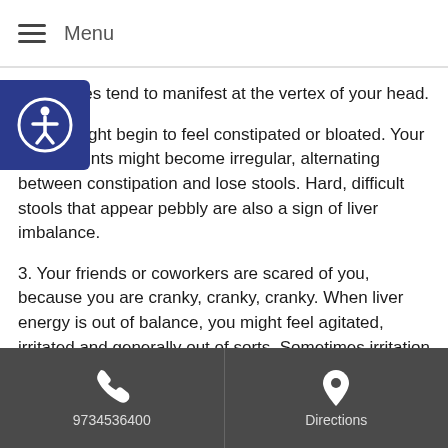Menu
headaches tend to manifest at the vertex of your head.
2. You might begin to feel constipated or bloated. Your bowel movements might become irregular, alternating between constipation and loose stools. Hard, difficult stools that appear pebbly are also a sign of liver imbalance.
3. Your friends or coworkers are scared of you, because you are cranky, cranky, cranky. When liver energy is out of balance, you might feel agitated, irritated and generally out of sorts. Sometimes irritation can expand into outright anger more easily than it would if this energy was flowing smoothly.
4. Ladies, you may notice your PMS symptoms have been worse lately. Bloating, breast tenderness, sensitivity...you can blame all of the above
9734536400   Directions